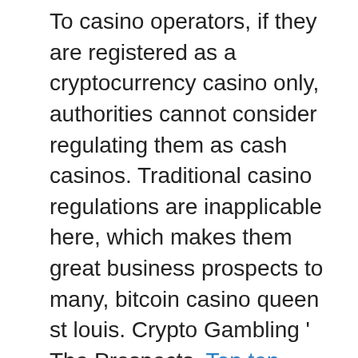To casino operators, if they are registered as a cryptocurrency casino only, authorities cannot consider regulating them as cash casinos. Traditional casino regulations are inapplicable here, which makes them great business prospects to many, bitcoin casino queen st louis. Crypto Gambling ' The Prospects. Top ten bitcoin slot games Wager it once with minimum odds of 1. Sportsbet also offer lots of promotions like 'price boost', 'multi-bet insurance' etc etc' But my favorite promotion is definitely ' multi-master ' that allows you to shoot for a 3000m prize by only betting 0., start casino royale. While we list every single Bitcoin casino on the planet, we only stick our necks out and risk our reputation for the crypto casinos and people who have the the highest